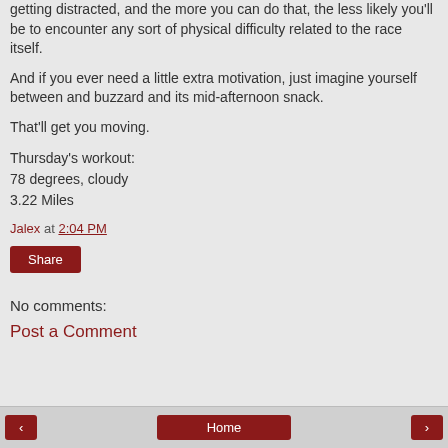getting distracted, and the more you can do that, the less likely you'll be to encounter any sort of physical difficulty related to the race itself.
And if you ever need a little extra motivation, just imagine yourself between and buzzard and its mid-afternoon snack.
That'll get you moving.
Thursday's workout:
78 degrees, cloudy
3.22 Miles
Jalex at 2:04 PM
Share
No comments:
Post a Comment
< Home >